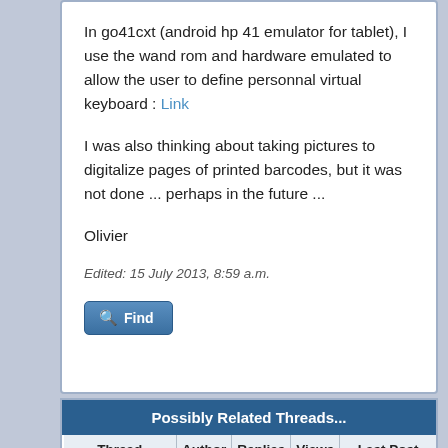In go41cxt (android hp 41 emulator for tablet), I use the wand rom and hardware emulated to allow the user to define personnal virtual keyboard : Link

I was also thinking about taking pictures to digitalize pages of printed barcodes, but it was not done ... perhaps in the future ...

Olivier
Edited: 15 July 2013, 8:59 a.m.
| Thread | Author | Replies | Views | Last Post |
| --- | --- | --- | --- | --- |
| [Prime] any ideas for a ... | Stefan Dröge | 8 | 2,057 | 11-04-2013, 04:37 PM |